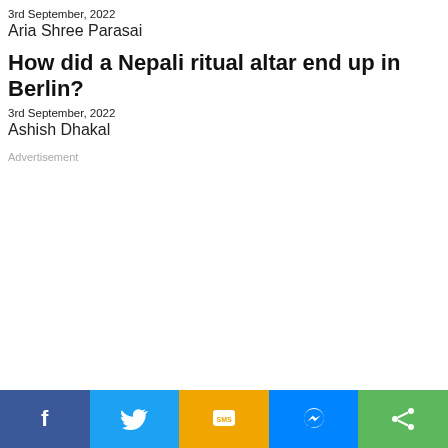3rd September, 2022
Aria Shree Parasai
How did a Nepali ritual altar end up in Berlin?
3rd September, 2022
Ashish Dhakal
Advertisement
[Figure (infographic): Social share bar at bottom with Facebook, Twitter, SMS, Messenger, and Share buttons]